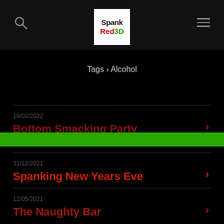SpankRed3D
Tags › Alcohol
18/02/2022 — Bottom Smacking Party
31/12/2021 — Spanking New Years Eve
12/05/2021 — The Naughty Bar